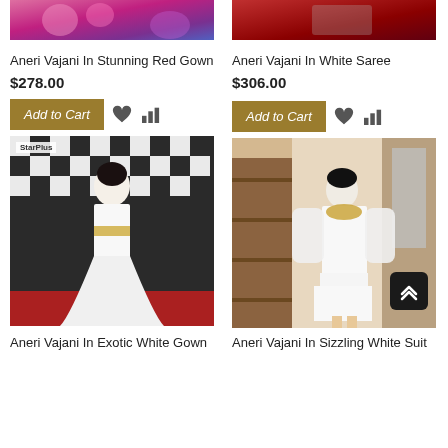[Figure (photo): Top portion of red/pink background product photo - Aneri Vajani in red gown]
Aneri Vajani In Stunning Red Gown
$278.00
[Figure (photo): Top portion of red background product photo - Aneri Vajani in white saree]
Aneri Vajani In White Saree
$306.00
[Figure (photo): Aneri Vajani in exotic white gown at Star Parivaar Awards event]
Aneri Vajani In Exotic White Gown
[Figure (photo): Aneri Vajani in sizzling white suit standing indoors]
Aneri Vajani In Sizzling White Suit